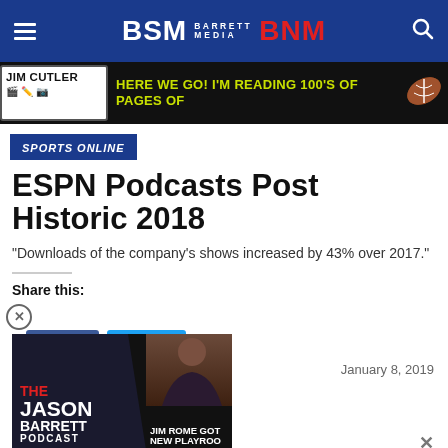BSM Barrett Media BNM
[Figure (screenshot): Jim Cutler ad banner: HERE WE GO! I'M READING 100'S OF PAGES OF with football icon]
SPORTS ONLINE
ESPN Podcasts Post Historic 2018
"Downloads of the company's shows increased by 43% over 2017."
Share this:
[Figure (screenshot): Popup overlay showing The Jason Barrett Podcast logo on left, Jim Rome Got New Playroo... on right, with close button and X dismiss button. Date shown: January 8, 2019]